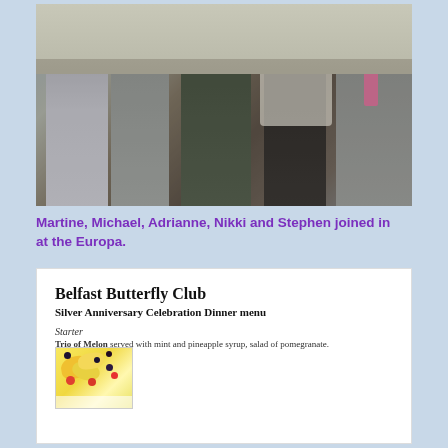[Figure (photo): Group photo of five people dressed formally — Martine, Michael, Adrianne, Nikki and Stephen — posing together at the Europa. They are wearing evening/party attire including suits and gowns in a hotel or function room setting.]
Martine, Michael, Adrianne, Nikki and Stephen joined in at the Europa.
[Figure (photo): Menu card for Belfast Butterfly Club Silver Anniversary Celebration Dinner with a food photo showing a Trio of Melon starter with mint and pineapple syrup, salad of pomegranate.]
Belfast Butterfly Club
Silver Anniversary Celebration Dinner menu
Starter
Trio of Melon served with mint and pineapple syrup, salad of pomegranate.